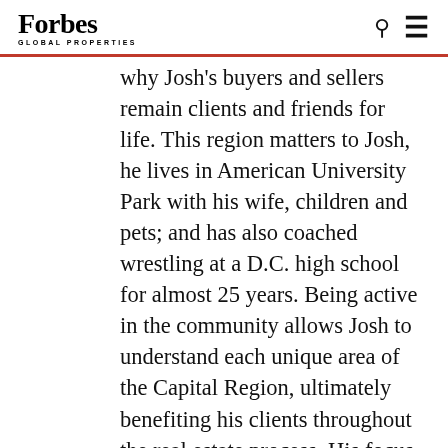Forbes Global Properties
why Josh's buyers and sellers remain clients and friends for life. This region matters to Josh, he lives in American University Park with his wife, children and pets; and has also coached wrestling at a D.C. high school for almost 25 years. Being active in the community allows Josh to understand each unique area of the Capital Region, ultimately benefiting his clients throughout the real estate process. His focus is on making your experience the best and most memorable transaction possible, and it shows. Josh's passion and dedication are why he was